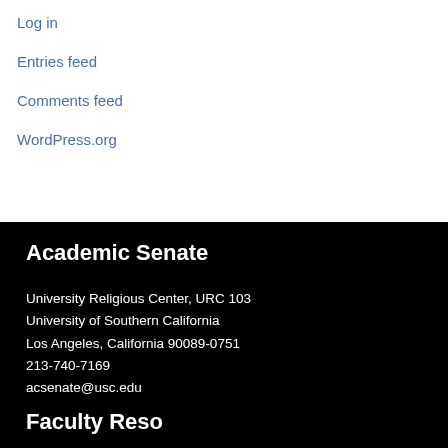Log in
Entries feed
Comments feed
WordPress.org
Academic Senate
University Religious Center, URC 103
University of Southern California
Los Angeles, California 90089-0751
213-740-7169
acsenate@usc.edu
Faculty Resources